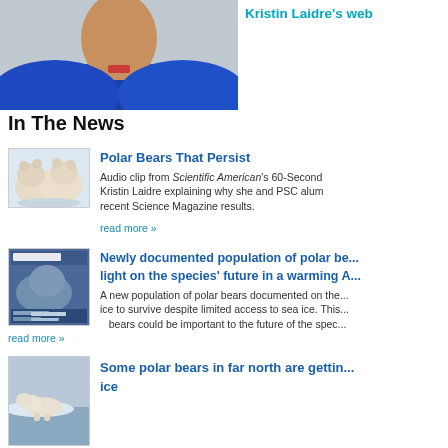[Figure (photo): Person wearing blue fleece jacket, cropped portrait]
Kristin Laidre's web
In The News
[Figure (photo): Two polar bear cubs huddled together on white background]
Polar Bears That Persist
Audio clip from Scientific American's 60-Second Science featuring Kristin Laidre explaining why she and PSC alum... recent Science Magazine results.
read more »
[Figure (photo): Cover of Science magazine featuring a seal or marine mammal with text GLACIER BEARS]
Newly documented population of polar be... light on the species' future in a warming A...
A new population of polar bears documented on the... ice to survive despite limited access to sea ice. This... bears could be important to the future of the spec...
read more »
[Figure (photo): Polar bear on ice near water]
Some polar bears in far north are gettin... ice